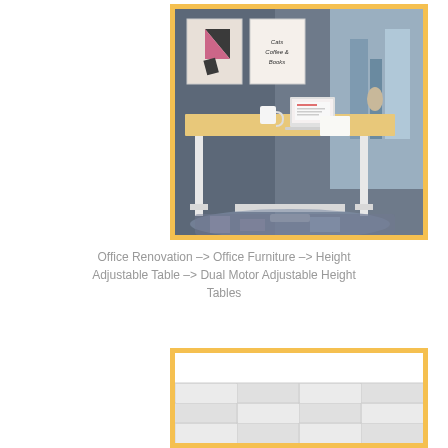[Figure (photo): Height adjustable standing desk with light wood top and white metal frame legs, in a modern office setting with grey walls, artwork on wall, laptop and coffee mug on desk, decorative rug on floor, city view through window]
Office Renovation –> Office Furniture –> Height Adjustable Table –> Dual Motor Adjustable Height Tables
[Figure (photo): Partial product image, appears to show a table or furniture item, mostly white/light grey, lower portion cut off]